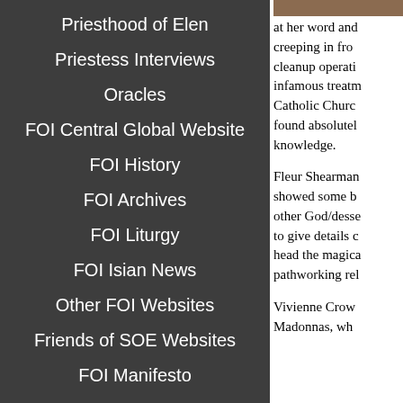Priesthood of Elen
Priestess Interviews
Oracles
FOI Central Global Website
FOI History
FOI Archives
FOI Liturgy
FOI Isian News
Other FOI Websites
Friends of SOE Websites
FOI Manifesto
Join FOI
[Figure (photo): Partial image visible at top right, brown/warm tones]
at her word and... creeping in fro... cleanup operati... infamous treatm... Catholic Churc... found absolutel... knowledge.
Fleur Shearman... showed some b... other God/desse... to give details c... head the magica... pathworking rel...
Vivienne Crow... Madonnas, wh...